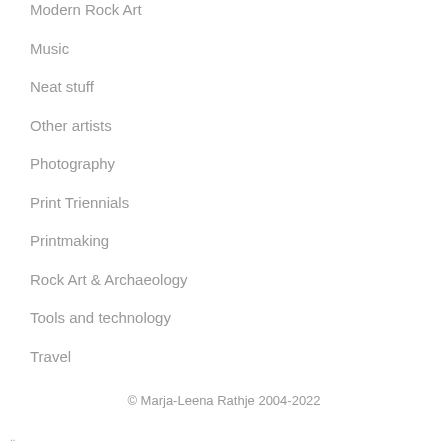Modern Rock Art
Music
Neat stuff
Other artists
Photography
Print Triennials
Printmaking
Rock Art & Archaeology
Tools and technology
Travel
© Marja-Leena Rathje 2004-2022
..